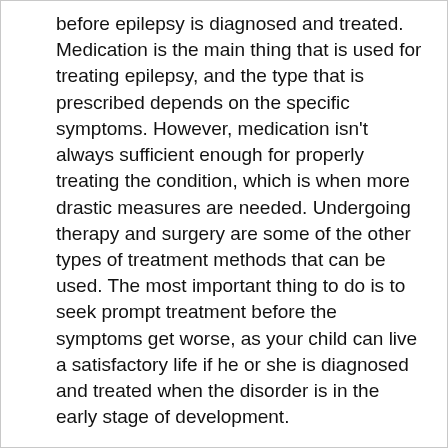before epilepsy is diagnosed and treated. Medication is the main thing that is used for treating epilepsy, and the type that is prescribed depends on the specific symptoms. However, medication isn't always sufficient enough for properly treating the condition, which is when more drastic measures are needed. Undergoing therapy and surgery are some of the other types of treatment methods that can be used. The most important thing to do is to seek prompt treatment before the symptoms get worse, as your child can live a satisfactory life if he or she is diagnosed and treated when the disorder is in the early stage of development.
For more information, contact a local center for neurological treatment.